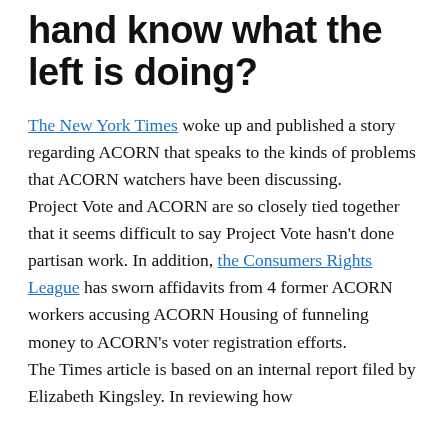hand know what the left is doing?
The New York Times woke up and published a story regarding ACORN that speaks to the kinds of problems that ACORN watchers have been discussing.
Project Vote and ACORN are so closely tied together that it seems difficult to say Project Vote hasn't done partisan work. In addition, the Consumers Rights League has sworn affidavits from 4 former ACORN workers accusing ACORN Housing of funneling money to ACORN's voter registration efforts.
The Times article is based on an internal report filed by Elizabeth Kingsley. In reviewing how